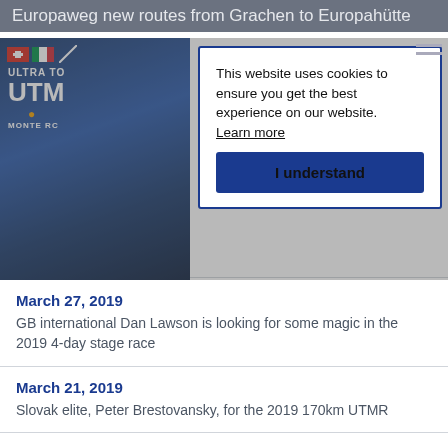Europaweg new routes from Grachen to Europahütte
[Figure (logo): ULTRA TOUR UTMR MONTE ROSA logo on dark blue mountain background with Swiss and Italian flags]
This website uses cookies to ensure you get the best experience on our website. Learn more
I understand
March
Christian... on the ...
March 27, 2019
GB international Dan Lawson is looking for some magic in the 2019 4-day stage race
March 21, 2019
Slovak elite, Peter Brestovansky, for the 2019 170km UTMR
February 26, 2019
Visiting runners from Nepal